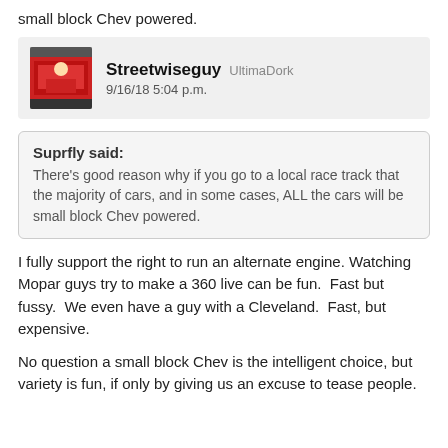small block Chev powered.
Streetwiseguy UltimaDork
9/16/18 5:04 p.m.
Suprfly said:
There's good reason why if you go to a local race track that the majority of cars, and in some cases, ALL the cars will be small block Chev powered.
I fully support the right to run an alternate engine. Watching Mopar guys try to make a 360 live can be fun.  Fast but fussy.  We even have a guy with a Cleveland.  Fast, but expensive.
No question a small block Chev is the intelligent choice, but variety is fun, if only by giving us an excuse to tease people.